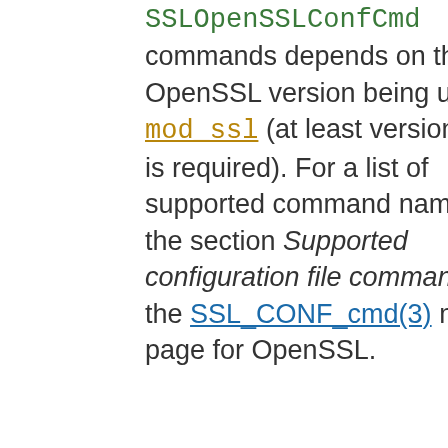SSLOpenSSLConfCmd commands depends on the OpenSSL version being used for mod_ssl (at least version 1.0.2 is required). For a list of supported command names, see the section Supported configuration file commands in the SSL_CONF_cmd(3) manual page for OpenSSL.
Some of the SSLOpenSSLConfCmd commands can be used as an alternative to existing directives (such as SSLCipherSuite or SSLProtocol), though it should be noted that the syntax / allowable values for the parameters may sometimes differ.